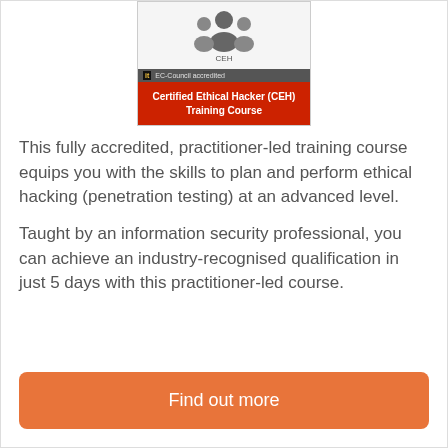[Figure (illustration): Course card showing Certified Ethical Hacker (CEH) Training Course with people icon, EC-Council accredited badge, and red background with white bold title text.]
This fully accredited, practitioner-led training course equips you with the skills to plan and perform ethical hacking (penetration testing) at an advanced level.
Taught by an information security professional, you can achieve an industry-recognised qualification in just 5 days with this practitioner-led course.
Find out more